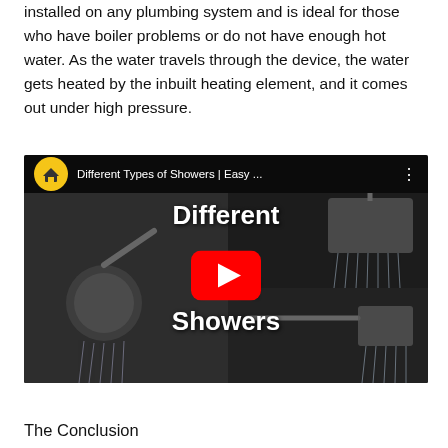An electric shower is a system that uses cold water. It can be installed on any plumbing system and is ideal for those who have boiler problems or do not have enough hot water. As the water travels through the device, the water gets heated by the inbuilt heating element, and it comes out under high pressure.
[Figure (other): Embedded YouTube video thumbnail titled 'Different Types of Showers | Easy ...' showing a collage of different shower head types with a YouTube play button overlay and channel logo.]
The Conclusion